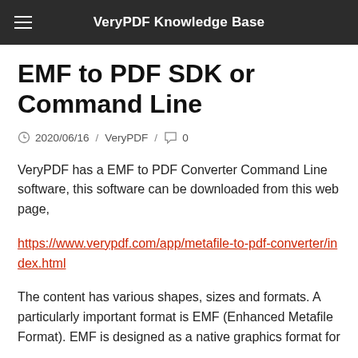VeryPDF Knowledge Base
EMF to PDF SDK or Command Line
2020/06/16  /  VeryPDF  /  0
VeryPDF has a EMF to PDF Converter Command Line software, this software can be downloaded from this web page,
https://www.verypdf.com/app/metafile-to-pdf-converter/index.html
The content has various shapes, sizes and formats. A particularly important format is EMF (Enhanced Metafile Format). EMF is designed as a native graphics format for